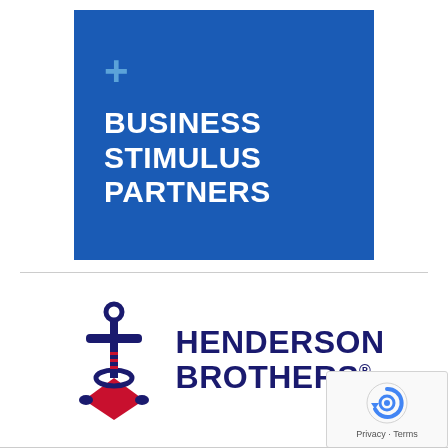[Figure (logo): Business Stimulus Partners logo — blue square background with a light blue plus sign (+) in upper left and white bold text reading BUSINESS STIMULUS PARTNERS in three lines]
[Figure (logo): Henderson Brothers logo — navy and red anchor icon on the left, with dark navy bold text HENDERSON BROTHERS® in two lines on the right]